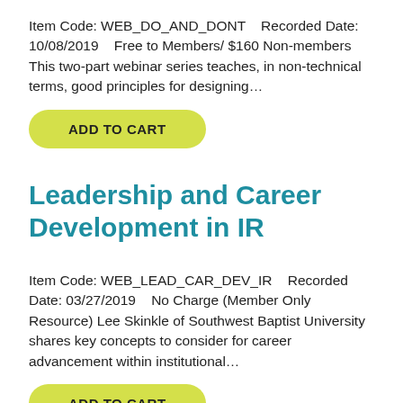Item Code: WEB_DO_AND_DONT    Recorded Date: 10/08/2019    Free to Members/ $160 Non-members This two-part webinar series teaches, in non-technical terms, good principles for designing…
ADD TO CART
Leadership and Career Development in IR
Item Code: WEB_LEAD_CAR_DEV_IR    Recorded Date: 03/27/2019    No Charge (Member Only Resource) Lee Skinkle of Southwest Baptist University shares key concepts to consider for career advancement within institutional…
ADD TO CART